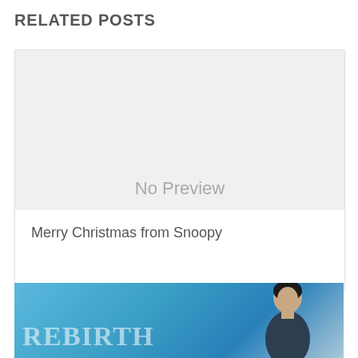RELATED POSTS
[Figure (other): No Preview placeholder image — light gray box with 'No Preview' text in gray]
Merry Christmas from Snoopy
[Figure (photo): Partial view of a 'REBIRTH' album or post card with a blue background and a man's portrait on the right side]